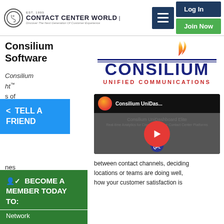Contact Center World | Discover The Next Generation Of Customer Experience
Consilium Software
Consilium UniDas...™ ... of ... as ... a distant
[Figure (logo): Consilium Unified Communications logo with flame graphic]
[Figure (screenshot): YouTube video thumbnail for Consilium UniDas... showing play button]
between contact channels, deciding locations or teams are doing well, how your customer satisfaction is
TELL A FRIEND share button (blue)
BECOME A MEMBER TODAY TO: Network, Post Content, Enter Awards, + Much More